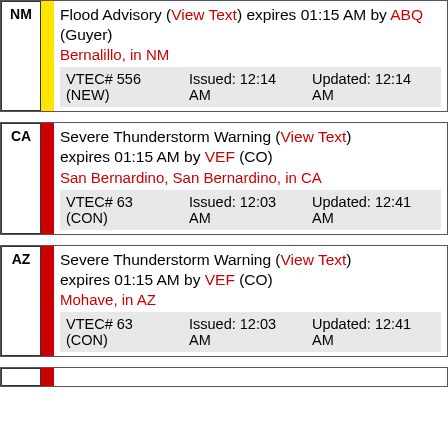NM Flood Advisory (View Text) expires 01:15 AM by ABQ (Guyer) Bernalillo, in NM VTEC# 556 (NEW) Issued: 12:14 AM Updated: 12:14 AM
CA Severe Thunderstorm Warning (View Text) expires 01:15 AM by VEF (CO) San Bernardino, San Bernardino, in CA VTEC# 63 (CON) Issued: 12:03 AM Updated: 12:41 AM
AZ Severe Thunderstorm Warning (View Text) expires 01:15 AM by VEF (CO) Mohave, in AZ VTEC# 63 (CON) Issued: 12:03 AM Updated: 12:41 AM